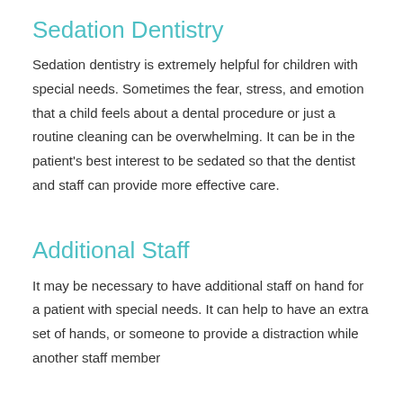Sedation Dentistry
Sedation dentistry is extremely helpful for children with special needs. Sometimes the fear, stress, and emotion that a child feels about a dental procedure or just a routine cleaning can be overwhelming. It can be in the patient's best interest to be sedated so that the dentist and staff can provide more effective care.
Additional Staff
It may be necessary to have additional staff on hand for a patient with special needs. It can help to have an extra set of hands, or someone to provide a distraction while another staff member